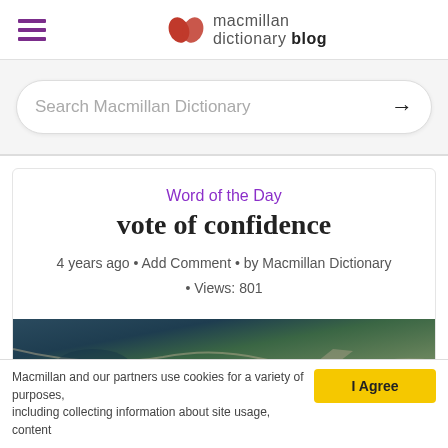macmillan dictionary blog
Search Macmillan Dictionary
Word of the Day
vote of confidence
4 years ago • Add Comment • by Macmillan Dictionary • Views: 801
[Figure (photo): Aerial photograph of a landscape with water, green fields, and a road]
Macmillan and our partners use cookies for a variety of purposes, including collecting information about site usage, content...